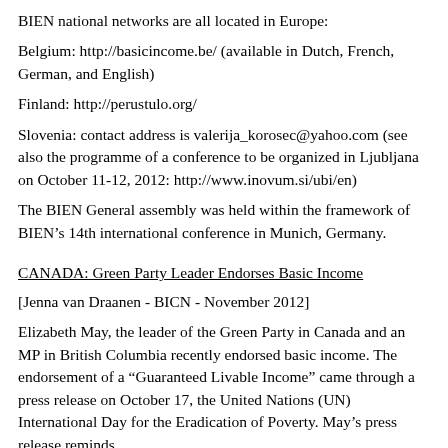BIEN national networks are all located in Europe:
Belgium: http://basicincome.be/ (available in Dutch, French, German, and English)
Finland: http://perustulo.org/
Slovenia: contact address is valerija_korosec@yahoo.com (see also the programme of a conference to be organized in Ljubljana on October 11-12, 2012: http://www.inovum.si/ubi/en)
The BIEN General assembly was held within the framework of BIEN’s 14th international conference in Munich, Germany.
CANADA: Green Party Leader Endorses Basic Income
[Jenna van Draanen - BICN - November 2012]
Elizabeth May, the leader of the Green Party in Canada and an MP in British Columbia recently endorsed basic income. The endorsement of a “Guaranteed Livable Income” came through a press release on October 17, the United Nations (UN) International Day for the Eradication of Poverty. May’s press release reminds